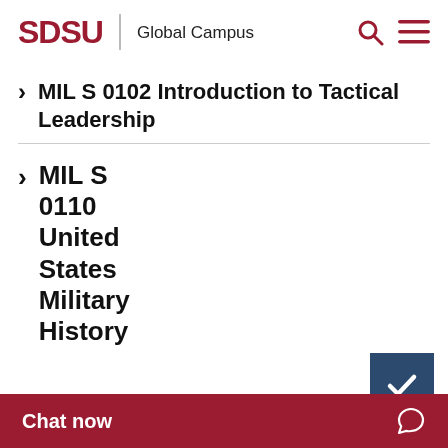SDSU | Global Campus
MIL S 0102 Introduction to Tactical Leadership
MIL S 0110 United States Military History
MIL S (truncated)
Chat now